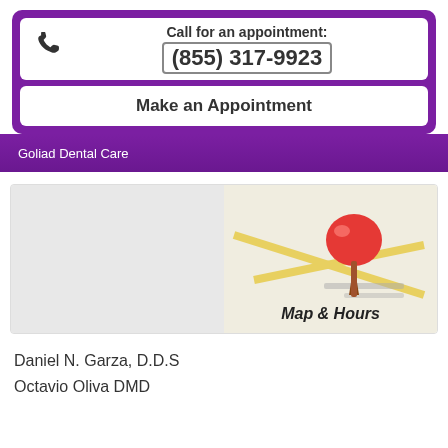Call for an appointment: (855) 317-9923
Make an Appointment
Goliad Dental Care
[Figure (photo): Map with red push pin and 'Map & Hours' label]
Daniel N. Garza, D.D.S
Octavio Oliva DMD